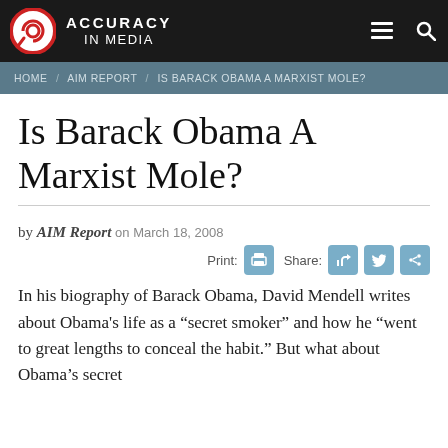ACCURACY in MEDIA
HOME / AIM REPORT / IS BARACK OBAMA A MARXIST MOLE?
Is Barack Obama A Marxist Mole?
by AIM Report on March 18, 2008
In his biography of Barack Obama, David Mendell writes about Obama's life as a “secret smoker” and how he “went to great lengths to conceal the habit.” But what about Obama’s secret